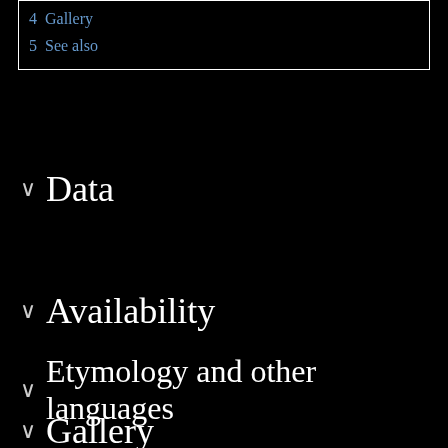4 Gallery
5 See also
Data
Availability
Etymology and other languages
Gallery